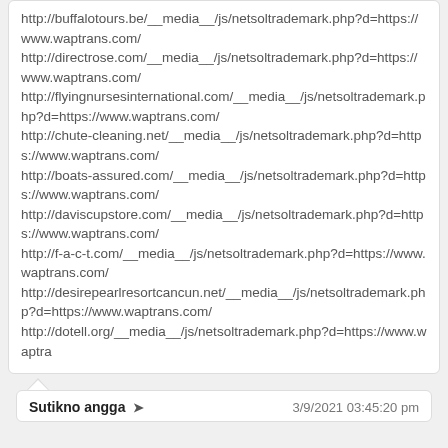http://buffalotours.be/__media__/js/netsoltrademark.php?d=https://www.waptrans.com/ http://directrose.com/__media__/js/netsoltrademark.php?d=https://www.waptrans.com/ http://flyingnursesinternational.com/__media__/js/netsoltrademark.php?d=https://www.waptrans.com/ http://chute-cleaning.net/__media__/js/netsoltrademark.php?d=https://www.waptrans.com/ http://boats-assured.com/__media__/js/netsoltrademark.php?d=https://www.waptrans.com/ http://daviscupstore.com/__media__/js/netsoltrademark.php?d=https://www.waptrans.com/ http://f-a-c-t.com/__media__/js/netsoltrademark.php?d=https://www.waptrans.com/ http://desirepearlresortcancun.net/__media__/js/netsoltrademark.php?d=https://www.waptrans.com/ http://dotell.org/__media__/js/netsoltrademark.php?d=https://www.waptra
Sutikno angga ➤ 3/9/2021 03:45:20 pm